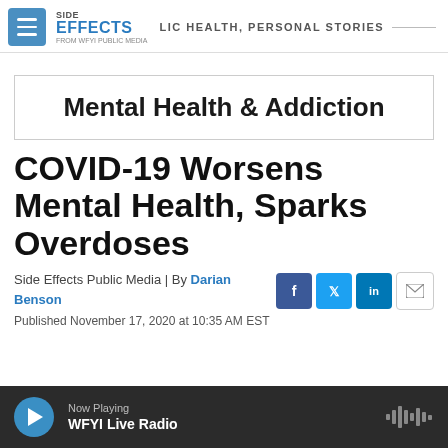SIDE EFFECTS | PUBLIC HEALTH, PERSONAL STORIES | FROM WFYI PUBLIC MEDIA
Mental Health & Addiction
COVID-19 Worsens Mental Health, Sparks Overdoses
Side Effects Public Media | By Darian Benson
Published November 17, 2020 at 10:35 AM EST
Now Playing WFYI Live Radio